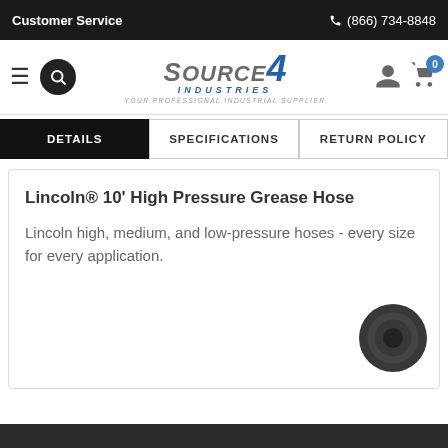Customer Service    (866) 734-8848
[Figure (logo): Source4 Industries logo with tagline YOUR PROFESSIONAL INDUSTRIAL SUPPLIER]
DETAILS | SPECIFICATIONS | RETURN POLICY
Lincoln® 10' High Pressure Grease Hose
Lincoln high, medium, and low-pressure hoses - every size for every application.